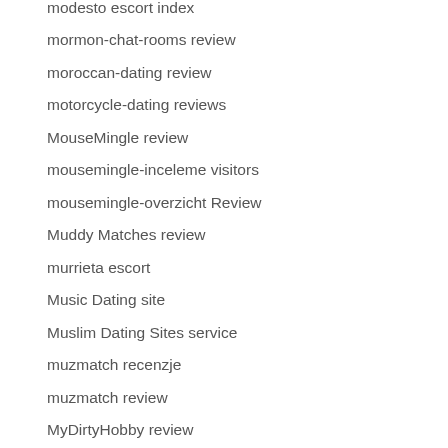modesto escort index
mormon-chat-rooms review
moroccan-dating review
motorcycle-dating reviews
MouseMingle review
mousemingle-inceleme visitors
mousemingle-overzicht Review
Muddy Matches review
murrieta escort
Music Dating site
Muslim Dating Sites service
muzmatch recenzje
muzmatch review
MyDirtyHobby review
naperville escort